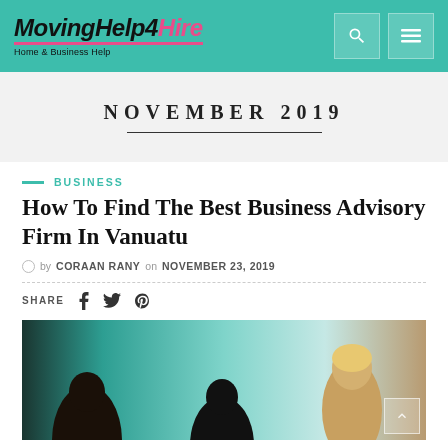MovingHelp4Hire — Home & Business Help
NOVEMBER 2019
BUSINESS
How To Find The Best Business Advisory Firm In Vanuatu
by CORAAN RANY on NOVEMBER 23, 2019
SHARE
[Figure (photo): Business professionals in a meeting, three women looking at documents, teal/aqua blurred background]